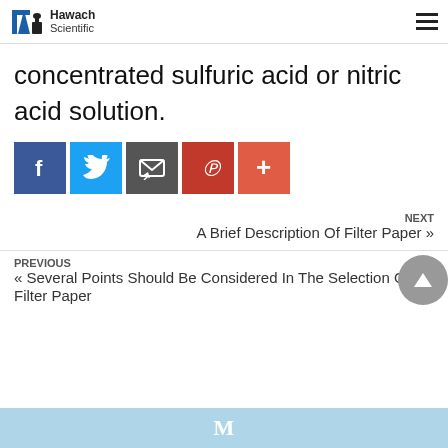Hawach Scientific
concentrated sulfuric acid or nitric acid solution.
[Figure (infographic): Social sharing buttons: Facebook, Twitter, Email, Pinterest, More (+)]
NEXT
A Brief Description Of Filter Paper »
PREVIOUS
« Several Points Should Be Considered In The Selection Of Filter Paper
M